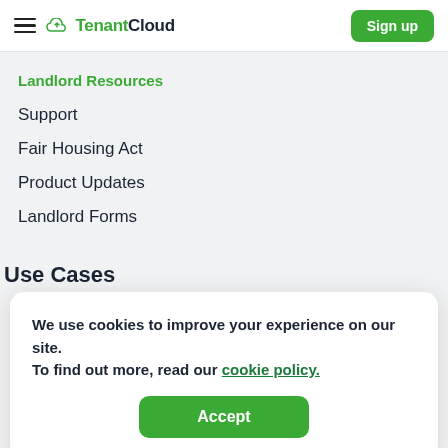TenantCloud  Sign up
Landlord Resources
Support
Fair Housing Act
Product Updates
Landlord Forms
Use Cases
We use cookies to improve your experience on our site.
To find out more, read our cookie policy.
Accept
Give us a call